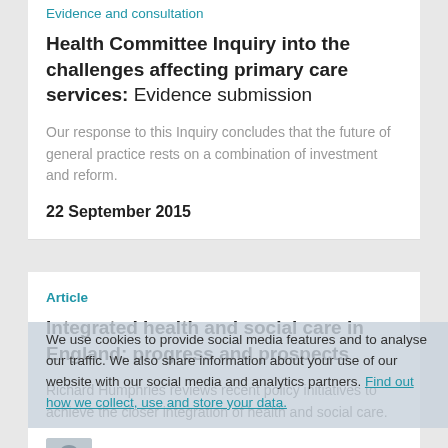Evidence and consultation
Health Committee Inquiry into the challenges affecting primary care services: Evidence submission
Our response to this Inquiry concludes that the future of general practice rests on a combination of investment and reform.
22 September 2015
Article
Integrated health and social care in England: progress and prospects
Richard Humphries reviews recent policy initiatives to achieve the closer integration of health and social care.
By Richard Humphries - 1 July 2015